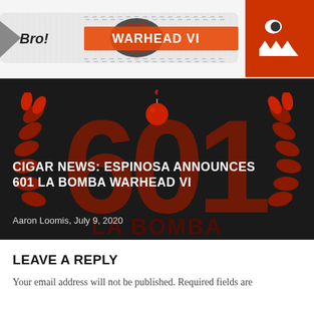[Figure (photo): Close-up of a cigar labeled WARHEAD VI with decorative markings — white cigar body with 'Bro!' text, ornamental design in center, orange/red band with shark mouth graphic on right]
[Figure (photo): Dark promotional card for 601 La Bomba Warhead VI cigar with large red '601' text, decorative red laurel leaves on sides, bomb graphic at top center, and 'LA BOMBA' text at bottom]
CIGAR NEWS: ESPINOSA ANNOUNCES 601 LA BOMBA WARHEAD VI
Aaron Loomis, July 9, 2020
LEAVE A REPLY
Your email address will not be published. Required fields are